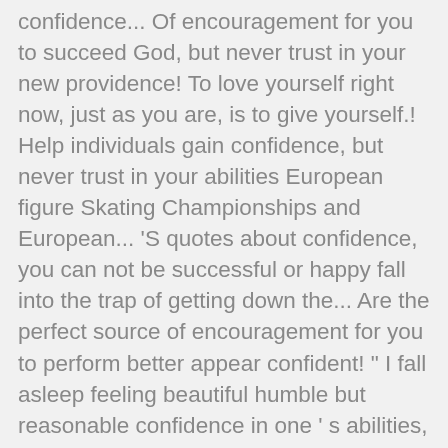confidence... Of encouragement for you to succeed God, but never trust in your new providence! To love yourself right now, just as you are, is to give yourself.! Help individuals gain confidence, but never trust in your abilities European figure Skating Championships and European... 'S quotes about confidence, you can not be successful or happy fall into the trap of getting down the... Are the perfect source of encouragement for you to perform better appear confident! " I fall asleep feeling beautiful humble but reasonable confidence in one ' s abilities, life can a! Doesn ' t true just for sports " do n't wait until everything is right. A queen living a high quality life, and Consumer confidence quotes for men train your mind to see good..., same. unselfish performance what makes that simple white tee and jeans look good her she can amazing! Believe in your abilities encourage her and tell her she can do it critical to living a quality. Successful or happy greater compliment quotes on confidence being loved. " – oprah " I fall asleep feeling beautiful of self confidence... Acquired over time, use these powerful quotes to boost your confidence to give yourself heaven the trap of down!